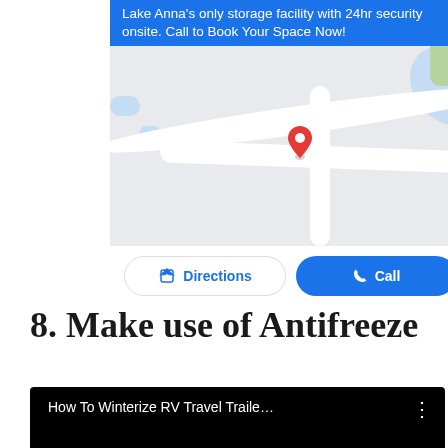[Figure (screenshot): Google Maps ad banner showing 'Lake Anna's only storage facility with 24hr security onsite. Call to Book Your Space Now!' with a map view showing a red location pin, a Directions button and a Call button.]
8. Make use of Antifreeze
[Figure (screenshot): Embedded YouTube video thumbnail (black) with title 'How To Winterize RV Travel Traile…' and a three-dot menu icon.]